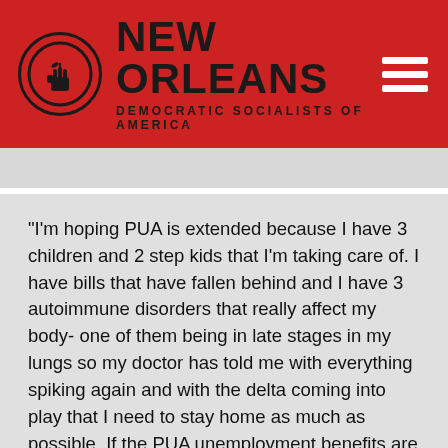NEW ORLEANS DEMOCRATIC SOCIALISTS OF AMERICA
"I'm hoping PUA is extended because I have 3 children and 2 step kids that I'm taking care of. I have bills that have fallen behind and I have 3 autoimmune disorders that really affect my body- one of them being in late stages in my lungs so my doctor has told me with everything spiking again and with the delta coming into play that I need to stay home as much as possible. If the PUA unemployment benefits are going to be cut off then I'm going to be forced to go into public and risk my life to find a job to